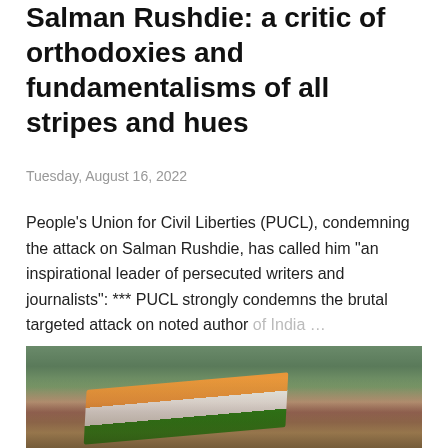Salman Rushdie: a critic of orthodoxies and fundamentalisms of all stripes and hues
Tuesday, August 16, 2022
People's Union for Civil Liberties (PUCL), condemning the attack on Salman Rushdie, has called him "an inspirational leader of persecuted writers and journalists": *** PUCL strongly condemns the brutal targeted attack on noted author of India ...
SHARE   POST A COMMENT   MORE»
[Figure (photo): Crowd of people marching and holding a large Indian tricolor flag outdoors, with trees and vehicles visible in the background.]